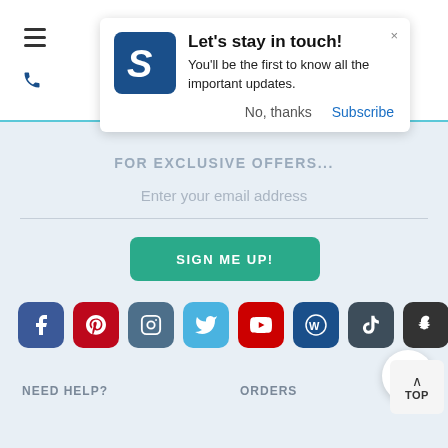[Figure (screenshot): Mobile website notification popup saying 'Let's stay in touch!' with logo, subscribe option, and website footer with email signup and social media icons]
Let's stay in touch!
You'll be the first to know all the important updates.
No, thanks
Subscribe
FOR EXCLUSIVE OFFERS...
Enter your email address
SIGN ME UP!
NEED HELP?
ORDERS